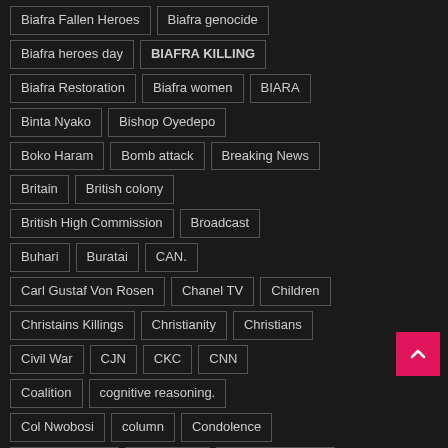Biafra Fallen Heroes
Biafra genocide
Biafra heroes day
BIAFRA KILLING
Biafra Restoration
Biafra women
BIARA
Binta Nyako
Bishop Oyedepo
Boko Haram
Bomb attack
Breaking News
Britain
British colony
British High Commission
Broadcast
Buhari
Buratai
CAN.
Carl Gustaf Von Rosen
Chanel TV
Children
Christains Killings
Christianity
Christians
Civil War
CJN
CKC
CNN
Coalition
cognitive reasoning.
Col Nwobosi
column
Condolence
CORRUPTION
Court case
COVID-19 Relief
COVID-19 Virus
Cross Rivers State
culture